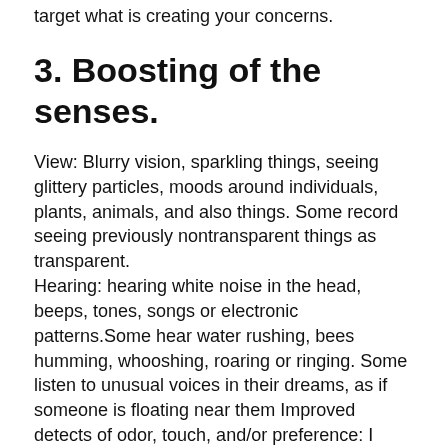target what is creating your concerns.
3. Boosting of the senses.
View: Blurry vision, sparkling things, seeing glittery particles, moods around individuals, plants, animals, and also things. Some record seeing previously nontransparent things as transparent.
Hearing: hearing white noise in the head, beeps, tones, songs or electronic patterns.Some hear water rushing, bees humming, whooshing, roaring or ringing. Some listen to unusual voices in their dreams, as if someone is floating near them Improved detects of odor, touch, and/or preference: I have a close friend that can scent and also taste chemical ingredients in